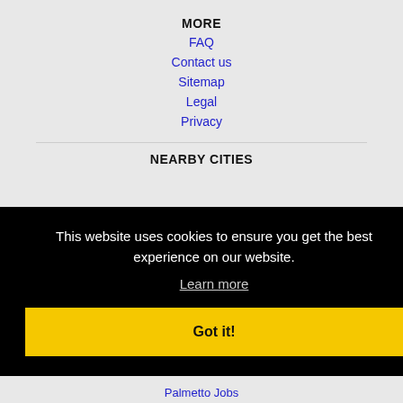MORE
FAQ
Contact us
Sitemap
Legal
Privacy
NEARBY CITIES
This website uses cookies to ensure you get the best experience on our website.
Learn more
Got it!
Palmetto Jobs